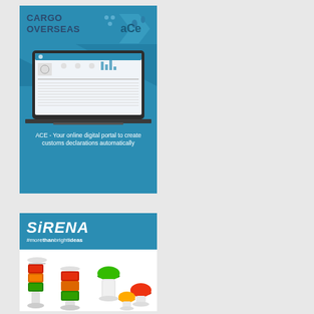[Figure (illustration): Cargo Overseas ACe advertisement. Blue banner with 'CARGO OVERSEAS' text and 'aCe' logo with decorative dots and arrow. Laptop image showing digital customs declarations portal interface. Text: 'ACE - Your online digital portal to create customs declarations automatically']
[Figure (illustration): Sirena advertisement. Blue header with 'SiRENA' italic logo and tagline '#morethanbrightideas'. White background with product photos of industrial signal tower lights in red, green, orange/yellow colors.]